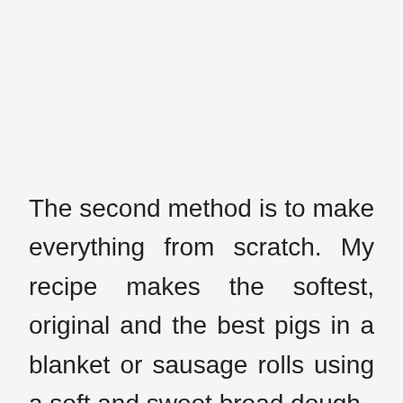The second method is to make everything from scratch. My recipe makes the softest, original and the best pigs in a blanket or sausage rolls using a soft and sweet bread dough.